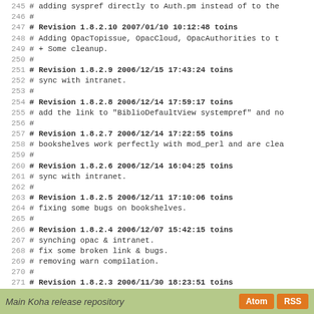245 # adding syspref directly to Auth.pm instead of to the
246 #
247 # Revision 1.8.2.10  2007/01/10 10:12:48  toins
248 # Adding OpacTopissue, OpacCloud, OpacAuthorities to t
249 # + Some cleanup.
250 #
251 # Revision 1.8.2.9  2006/12/15 17:43:24  toins
252 # sync with intranet.
253 #
254 # Revision 1.8.2.8  2006/12/14 17:59:17  toins
255 # add the link to "BiblioDefaultView systempref" and no
256 #
257 # Revision 1.8.2.7  2006/12/14 17:22:55  toins
258 # bookshelves work perfectly with mod_perl and are clea
259 #
260 # Revision 1.8.2.6  2006/12/14 16:04:25  toins
261 # sync with intranet.
262 #
263 # Revision 1.8.2.5  2006/12/11 17:10:06  toins
264 # fixing some bugs on bookshelves.
265 #
266 # Revision 1.8.2.4  2006/12/07 15:42:15  toins
267 # synching opac & intranet.
268 # fix some broken link & bugs.
269 # removing warn compilation.
270 #
271 # Revision 1.8.2.3  2006/11/30 18:23:51  toins
272 # theses scripts don't need to use C4::Search.
273 #
Main Koha release repository